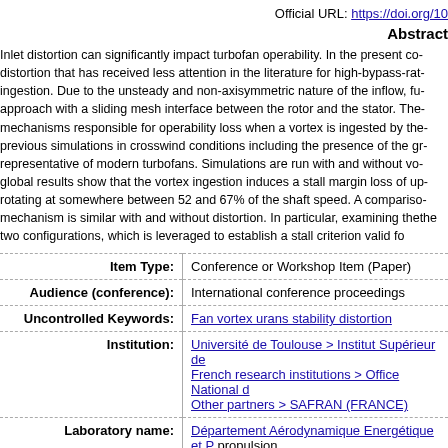Official URL: https://doi.org/10...
Abstract
Inlet distortion can significantly impact turbofan operability. In the present co... distortion that has received less attention in the literature for high-bypass-rat... ingestion. Due to the unsteady and non-axisymmetric nature of the inflow, fu... approach with a sliding mesh interface between the rotor and the stator. The... mechanisms responsible for operability loss when a vortex is ingested by the... previous simulations in crosswind conditions including the presence of the gr... representative of modern turbofans. Simulations are run with and without vo... global results show that the vortex ingestion induces a stall margin loss of u... rotating at somewhere between 52 and 67% of the shaft speed. A compariso... mechanism is similar with and without distortion. In particular, examining the... the two configurations, which is leveraged to establish a stall criterion valid f...
| Field | Value |
| --- | --- |
| Item Type: | Conference or Workshop Item (Paper) |
| Audience (conference): | International conference proceedings |
| Uncontrolled Keywords: | Fan vortex urans stability distortion |
| Institution: | Université de Toulouse > Institut Supérieur de...
French research institutions > Office National d...
Other partners > SAFRAN (FRANCE) |
| Laboratory name: | Département Aérodynamique Energétique et P... propulsion |
| Statistics: | download |
| Deposited On: | 25 Sep 2020 14:25 |